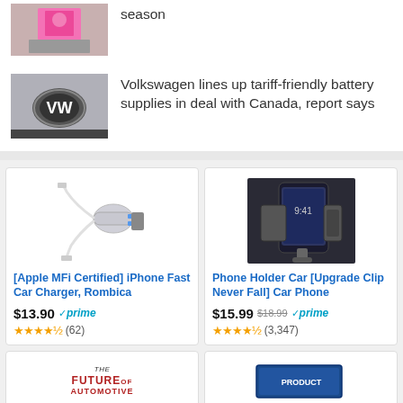[Figure (photo): Person in pink racing suit at a racing event]
season
[Figure (photo): Volkswagen logo on car grille]
Volkswagen lines up tariff-friendly battery supplies in deal with Canada, report says
[Figure (photo): iPhone fast car charger product image - Rombica]
[Apple MFi Certified] iPhone Fast Car Charger, Rombica
$13.90 prime ★★★★½ (62)
[Figure (photo): Phone holder car mount product image]
Phone Holder Car [Upgrade Clip Never Fall] Car Phone
$15.99 $18.99 prime ★★★★½ (3,347)
[Figure (other): The Future of Automotive - book or product cover]
[Figure (other): Blue box product - automotive related]